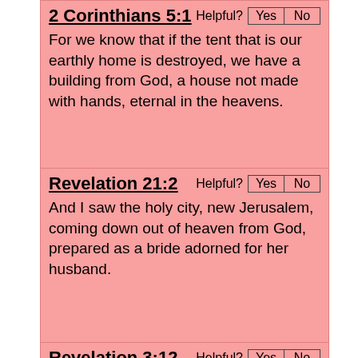2 Corinthians 5:1
For we know that if the tent that is our earthly home is destroyed, we have a building from God, a house not made with hands, eternal in the heavens.
Revelation 21:2
And I saw the holy city, new Jerusalem, coming down out of heaven from God, prepared as a bride adorned for her husband.
Revelation 3:12